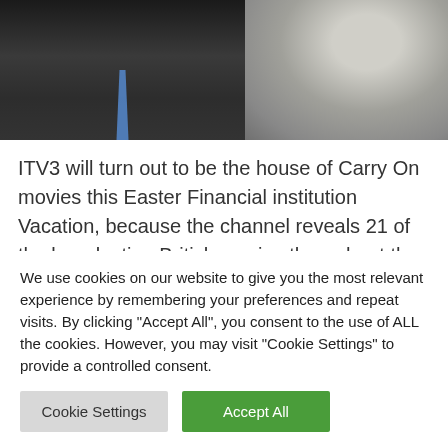[Figure (photo): Two black and white photos side by side: left shows a man in a suit and blue tie, right shows a close-up of an older person's face]
ITV3 will turn out to be the house of Carry On movies this Easter Financial institution Vacation, because the channel reveals 21 of the long-lasting British movies throughout the following 4 days. The marathon begins right now at 1.35pm, with 1966's Carry On Do not Lose Your Head airing for viewers. It tells the story of an English nobleman who disguises himself to go undercover
We use cookies on our website to give you the most relevant experience by remembering your preferences and repeat visits. By clicking "Accept All", you consent to the use of ALL the cookies. However, you may visit "Cookie Settings" to provide a controlled consent.